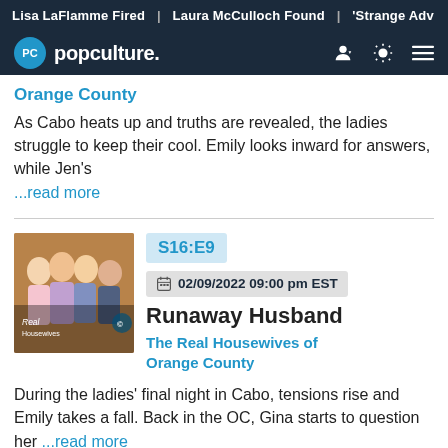Lisa LaFlamme Fired | Laura McCulloch Found | 'Strange Adv
popculture.
Orange County
As Cabo heats up and truths are revealed, the ladies struggle to keep their cool. Emily looks inward for answers, while Jen's ...read more
S16:E9
02/09/2022 09:00 pm EST
Runaway Husband
The Real Housewives of Orange County
During the ladies' final night in Cabo, tensions rise and Emily takes a fall. Back in the OC, Gina starts to question her ...read more